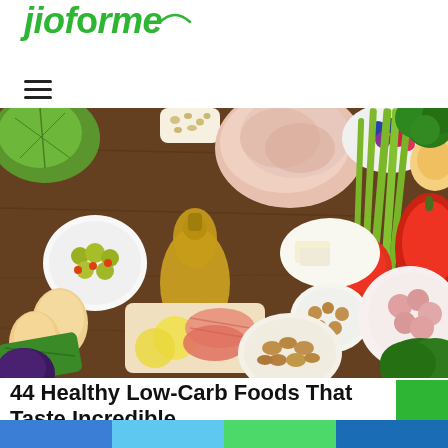jioforme
[Figure (photo): Overhead flat-lay photo of various low-carb foods including meats, vegetables (asparagus, broccoli, bell pepper, cabbage, cucumber), eggs, olives in a bowl, olive oil in a carafe, berries, nuts, and cheese on a dark wooden background.]
44 Healthy Low-Carb Foods That Taste Incredible